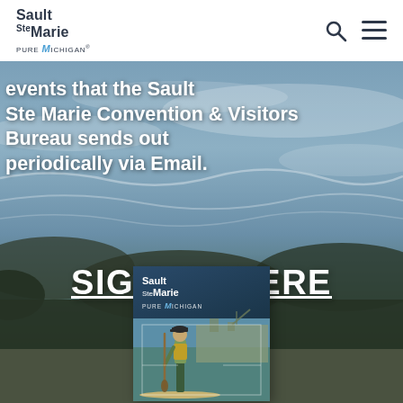[Figure (logo): Sault Ste Marie Pure Michigan logo - black text with blue stylized M accent]
events that the Sault Ste Marie Convention & Visitors Bureau sends out periodically via Email.
SIGN UP HERE
[Figure (photo): Newsletter card showing Sault Ste Marie branding with a person standing on a paddleboard with a large ship in the background, on blue water]